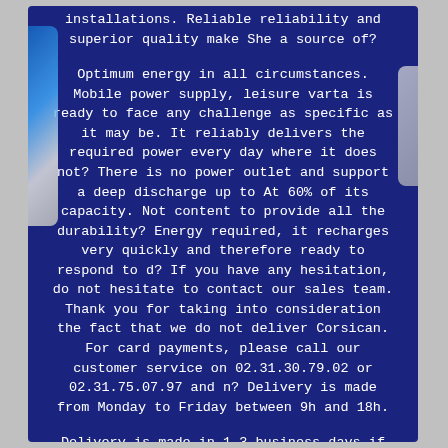installations. Reliable reliability and superior quality make She a source of?

Optimum energy in all circumstances. Mobile power supply, leisure varta is ready to face any challenge as specific as it may be. It reliably delivers the required power every day where it does not? There is no power outlet and support a deep discharge up to At 60% of its capacity. Not content to provide all the durability? Energy required, it recharges very quickly and therefore ready to respond to d? If you have any hesitation, do not hesitate to contact our sales team. Thank you for taking into consideration the fact that we do not deliver Corsican. For card payments, please call our customer service on 02.31.30.79.02 or 02.31.75.07.97 and n? Delivery is made from Monday to Friday between 9h and 18h.

Delivery is made in 1-3 business days if the order is placed before 15:00 in all mainland France. We do not deliver on weekends, our delays correspond to the delays of the carrier so we are not responsible for?